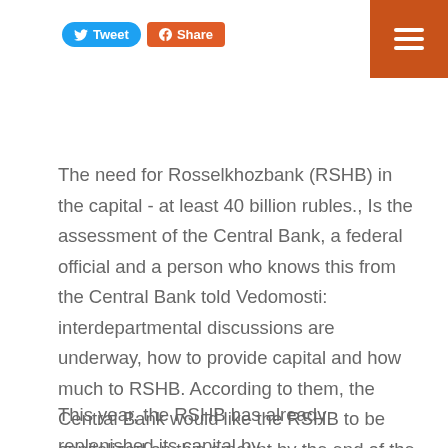[Figure (other): Social media buttons: Tweet button (blue, Twitter bird icon) and Share button (orange, Facebook icon)]
[Figure (other): Hamburger menu button on orange/brown background in top-right corner]
The need for Rosselkhozbank (RSHB) in the capital - at least 40 billion rubles., Is the assessment of the Central Bank, a federal official and a person who knows this from the Central Bank told Vedomosti: interdepartmental discussions are underway, how to provide capital and how much to RSHB. According to them, the Central Bank would like the RSHB to be capitalized on this amount by the end of the year.
This year, the RSHB has already replenished its capital by